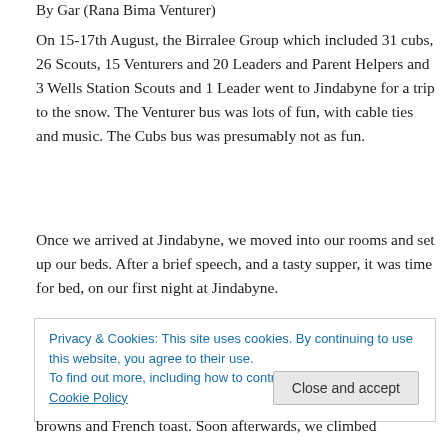By Gar (Rana Bima Venturer)
On 15-17th August, the Birralee Group which included 31 cubs, 26 Scouts, 15 Venturers and 20 Leaders and Parent Helpers and 3 Wells Station Scouts and 1 Leader went to Jindabyne for a trip to the snow. The Venturer bus was lots of fun, with cable ties and music. The Cubs bus was presumably not as fun.
Once we arrived at Jindabyne, we moved into our rooms and set up our beds. After a brief speech, and a tasty supper, it was time for bed, on our first night at Jindabyne.
Privacy & Cookies: This site uses cookies. By continuing to use this website, you agree to their use.
To find out more, including how to control cookies, see here: Cookie Policy
browns and French toast. Soon afterwards, we climbed